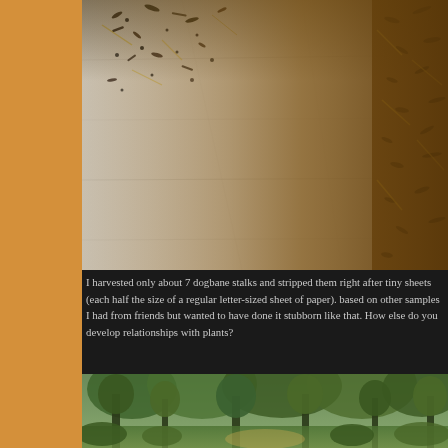[Figure (photo): Close-up macro photograph of small dark seeds, plant debris, and fibrous material scattered on a light-colored wood grain surface]
I harvested only about 7 dogbane stalks and stripped them right after tiny sheets (each half the size of a regular letter-sized sheet of paper). based on other samples I had from friends but wanted to have done it stubborn like that. How else do you develop relationships with plants?
[Figure (photo): Outdoor forest/woodland scene with green trees, lush foliage, and a path or clearing visible]